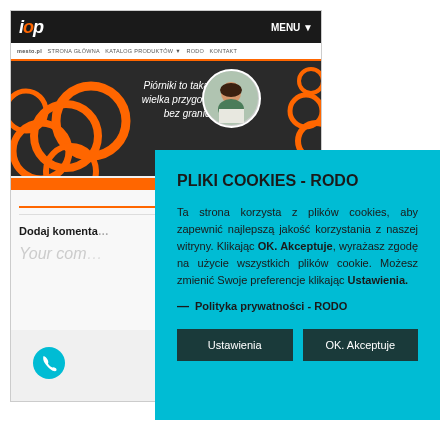[Figure (screenshot): Website screenshot showing icp logo, menu, orange-themed navigation bar, dark banner with orange coils and a girl writing, and a white content area with 'Dodaj komentarz' heading and 'Your com...' placeholder text. A teal phone button is visible at bottom left.]
[Figure (screenshot): Cookie consent dialog overlay on teal background with title 'PLIKI COOKIES - RODO', explanatory text about cookies, a 'Polityka prywatności - RODO' link, and two buttons: 'Ustawienia' and 'OK. Akceptuje']